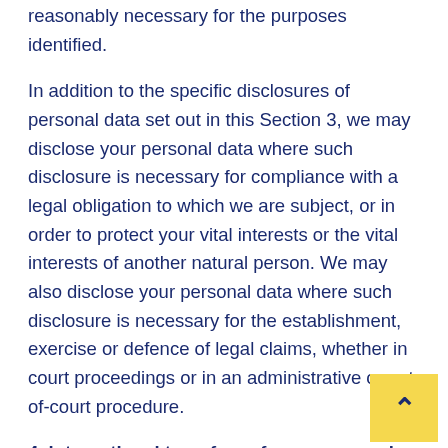reasonably necessary for the purposes identified.
In addition to the specific disclosures of personal data set out in this Section 3, we may disclose your personal data where such disclosure is necessary for compliance with a legal obligation to which we are subject, or in order to protect your vital interests or the vital interests of another natural person. We may also disclose your personal data where such disclosure is necessary for the establishment, exercise or defence of legal claims, whether in court proceedings or in an administrative or out-of-court procedure.
4. international transfers of your personal data
In this Section 4 and elsewhere on our website, we provide information about the circumstances in which your personal data may be transferred from a location within the European Economic Area (EEA) to a location